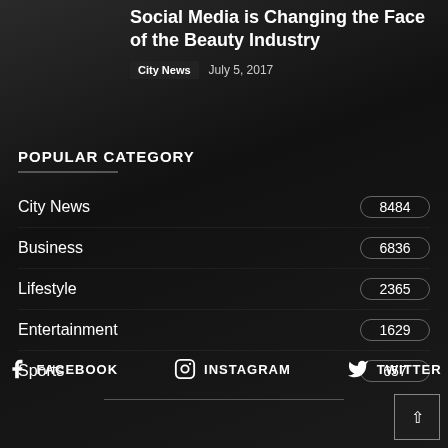Social Media is Changing the Face of the Beauty Industry
City News  July 5, 2017
POPULAR CATEGORY
City News  8484
Business  6836
Lifestyle  2365
Entertainment  1629
Sports  657
FACEBOOK   INSTAGRAM   TWITTER